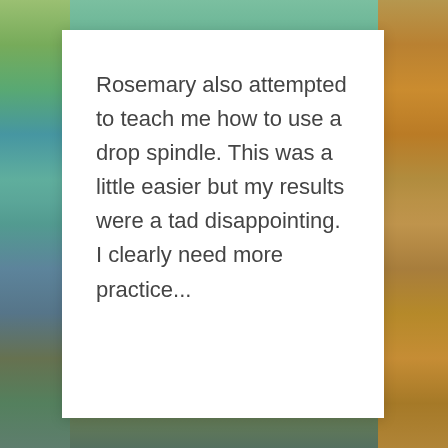[Figure (photo): Blurred colorful background with teal/green on left side and orange/yellow on right side, with a white card overlaid in the center.]
Rosemary also attempted to teach me how to use a drop spindle. This was a little easier but my results were a tad disappointing. I clearly need more practice...